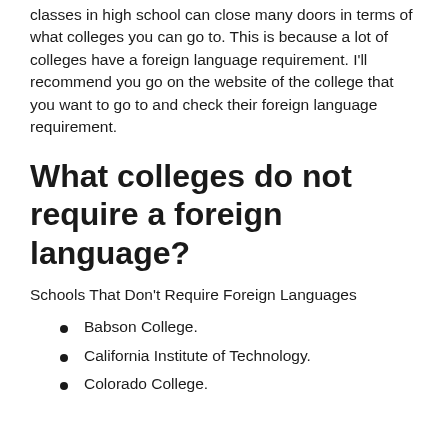classes in high school can close many doors in terms of what colleges you can go to. This is because a lot of colleges have a foreign language requirement. I'll recommend you go on the website of the college that you want to go to and check their foreign language requirement.
What colleges do not require a foreign language?
Schools That Don't Require Foreign Languages
Babson College.
California Institute of Technology.
Colorado College.